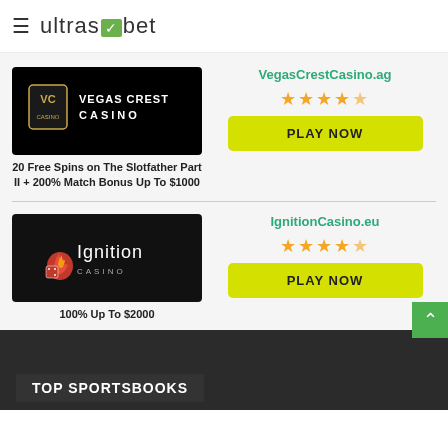ultrasbet
[Figure (logo): Vegas Crest Casino logo on black background]
20 Free Spins on The Slotfather Part II + 200% Match Bonus Up To $1000
VegasCrestCasino.ag
★★★★★ (4.5 stars)
PLAY NOW
[Figure (logo): Ignition Casino logo on dark background]
100% Up To $2000
IgnitionCasino.eu
★★★★★ (4.5 stars)
PLAY NOW
TOP SPORTSBOOKS